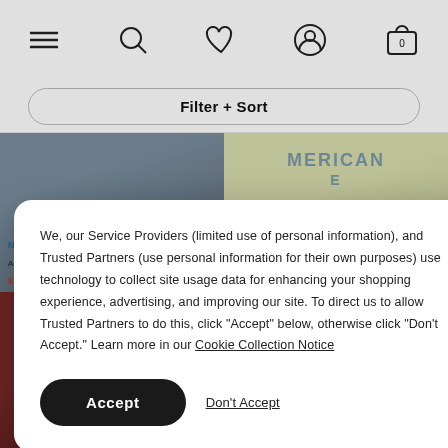[Figure (screenshot): E-commerce website navigation bar with hamburger menu, search, heart/wishlist, account, and shopping bag icons]
Filter + Sort
[Figure (photo): Product photos - navy t-shirt on left, cream American Eagle t-shirt on right]
We, our Service Providers (limited use of personal information), and Trusted Partners (use personal information for their own purposes) use technology to collect site usage data for enhancing your shopping experience, advertising, and improving our site. To direct us to allow Trusted Partners to do this, click "Accept" below, otherwise click "Don't Accept." Learn more in our Cookie Collection Notice
Accept
Don't Accept